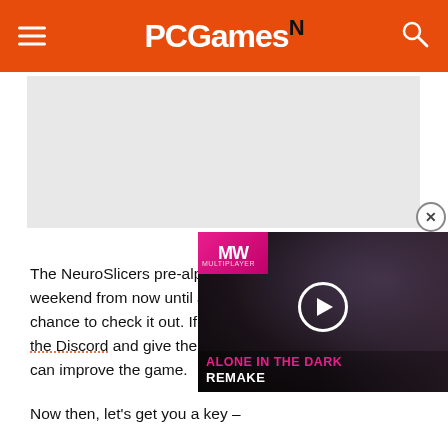PCGamesN
[Figure (photo): Gray placeholder image area for article content]
The NeuroSlicers pre-alpha test is running every weekend from now until June 4th, so you have plenty of chance to check it out. If you do play, make sure to join the Discord and give the developers feedback so they can improve the game.
Now then, let's get you a key –
[Figure (screenshot): Video overlay showing 'Alone in the Dark Remake' with MW logo, play button, and dark cinematic background]